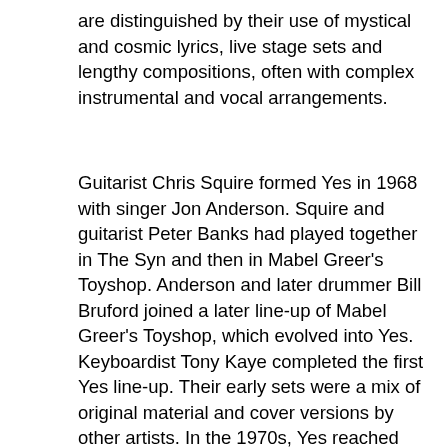are distinguished by their use of mystical and cosmic lyrics, live stage sets and lengthy compositions, often with complex instrumental and vocal arrangements.
Guitarist Chris Squire formed Yes in 1968 with singer Jon Anderson. Squire and guitarist Peter Banks had played together in The Syn and then in Mabel Greer's Toyshop. Anderson and later drummer Bill Bruford joined a later line-up of Mabel Greer's Toyshop, which evolved into Yes. Keyboardist Tony Kaye completed the first Yes line-up. Their early sets were a mix of original material and cover versions by other artists. In the 1970s, Yes reached their creative peak in the progressive genre when most notably Anderson, Squire, Howe, Kaye, Bruford, drummer Alan White, and keyboardists Rick Wakeman and Patrick Moraz were part of the band's line-ups, and produced what many critics consider their finest works: The Yes Album, Fragile (both in 1971), Close to the Edge (1972), Tales from Topographic Oceans (1973), Relayer (1974) and Going for the One (1977). The rise of punk rock at